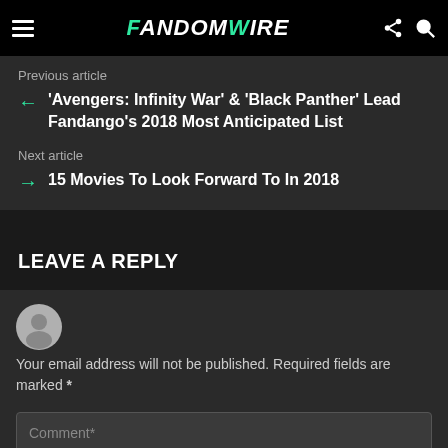FandomWire
Previous article
'Avengers: Infinity War' & 'Black Panther' Lead Fandango's 2018 Most Anticipated List
Next article
15 Movies To Look Forward To In 2018
LEAVE A REPLY
[Figure (illustration): Default user avatar — grey circle with silhouette of person]
Your email address will not be published. Required fields are marked *
Comment*